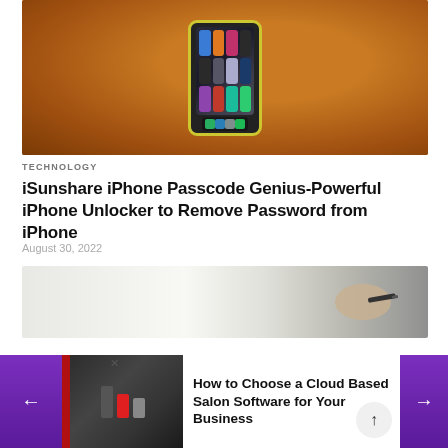[Figure (photo): iPhone with yellow case displaying home screen apps, placed on a warm brown wooden surface]
TECHNOLOGY
iSunshare iPhone Passcode Genius-Powerful iPhone Unlocker to Remove Password from iPhone
August 30, 2022
[Figure (photo): Close-up of a hand holding a pen or stylus, writing on a light surface]
[Figure (photo): Popup banner showing a barbershop scene with people, with navigation arrows and title 'How to Choose a Cloud Based Salon Software for Your Business']
How to Choose a Cloud Based Salon Software for Your Business